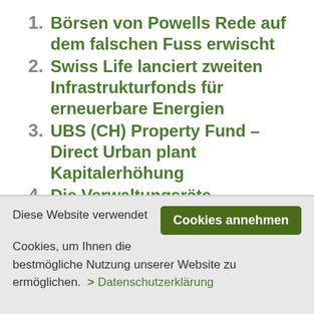1. Börsen von Powells Rede auf dem falschen Fuss erwischt
2. Swiss Life lanciert zweiten Infrastrukturfonds für erneuerbare Energien
3. UBS (CH) Property Fund – Direct Urban plant Kapitalerhöhung
4. Die Verwaltungsräte beschleicht Vorsicht
Diese Website verwendet Cookies, um Ihnen die bestmögliche Nutzung unserer Website zu ermöglichen.  > Datenschutzerklärung